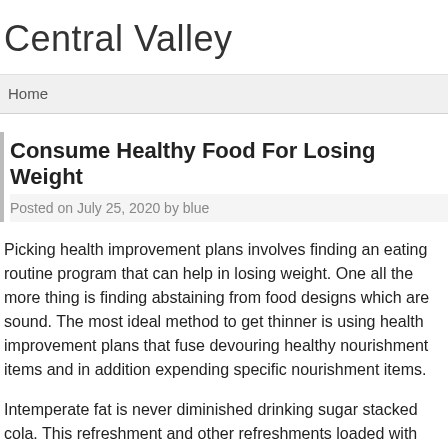Central Valley
Home
Consume Healthy Food For Losing Weight
Posted on July 25, 2020 by blue
Picking health improvement plans involves finding an eating routine program that can help in losing weight. One all the more thing is finding abstaining from food designs which are sound. The most ideal method to get thinner is using health improvement plans that fuse devouring healthy nourishment items and in addition expending specific nourishment items.
Intemperate fat is never diminished drinking sugar stacked cola. This refreshment and other refreshments loaded with sugar are made natural product juices, caffeinated beverages. After research, sugar was built up to cause overabundance pounds. According to the news, decreasing admission of sugar stacked cola and those different beverages has been viewed as a great approach calorie counters can promptly drop over the top weight.
Instead of drinking sugar filled pop, contemplate having home arranged lemon